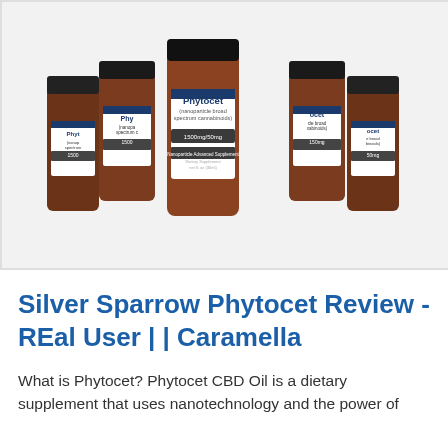[Figure (photo): Multiple amber glass bottles of Phytocet CBD Oil arranged together. Labels read 'Phytocet (nanoparticle broad spectrum cannabinoids) 1500mg/50mg'. Bottles have black lids and white labels with blue accent stripe.]
Silver Sparrow Phytocet Review - REal User |  | Caramella
What is Phytocet? Phytocet CBD Oil is a dietary supplement that uses nanotechnology and the power of